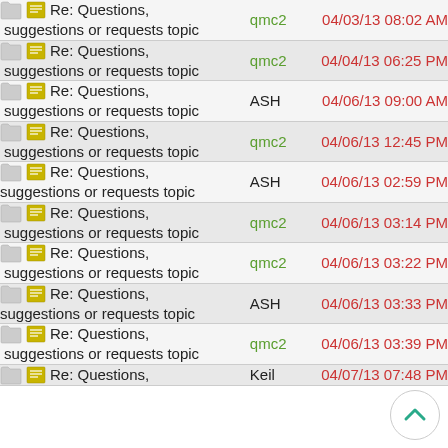Re: Questions, suggestions or requests topic | qmc2 | 04/03/13 08:02 AM
Re: Questions, suggestions or requests topic | qmc2 | 04/04/13 06:25 PM
Re: Questions, suggestions or requests topic | ASH | 04/06/13 09:00 AM
Re: Questions, suggestions or requests topic | qmc2 | 04/06/13 12:45 PM
Re: Questions, suggestions or requests topic | ASH | 04/06/13 02:59 PM
Re: Questions, suggestions or requests topic | qmc2 | 04/06/13 03:14 PM
Re: Questions, suggestions or requests topic | qmc2 | 04/06/13 03:22 PM
Re: Questions, suggestions or requests topic | ASH | 04/06/13 03:33 PM
Re: Questions, suggestions or requests topic | qmc2 | 04/06/13 03:39 PM
Re: Questions, | Keil | 04/07/13 07:48 PM